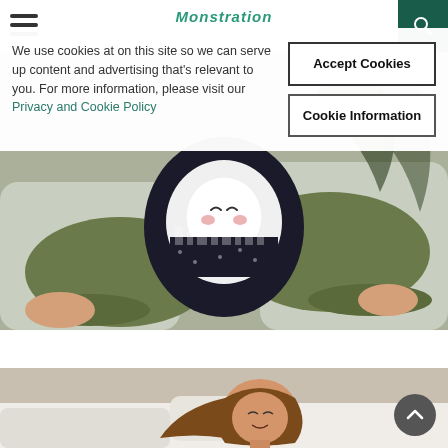Navigation bar with hamburger menu, logo, and search icon
We use cookies at on this site so we can serve up content and advertising that's relevant to you. For more information, please visit our Privacy and Cookie Policy
[Figure (photo): Child sitting cross-legged on a bed holding a decorative tooth fairy pillow with cityscape print and a cute tooth face with rosy cheeks and closed eyes. Child is wearing olive green sweatpants.]
[Figure (photo): Young girl with long brown hair lying on a bed with white pillows, smiling at the camera.]